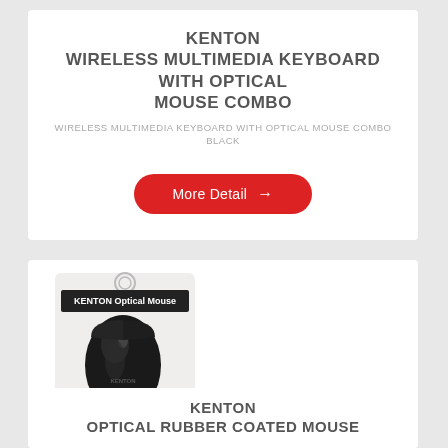KENTON
WIRELESS MULTIMEDIA KEYBOARD WITH OPTICAL MOUSE COMBO
WIRELESS MULTIMEDIA KEYBOARD WITH OPTICAL MOUSE COMBO BLACK
More Detail →
[Figure (photo): Kenton Optical Mouse product photo in retail packaging, black mouse shown]
KENTON
OPTICAL RUBBER COATED MOUSE